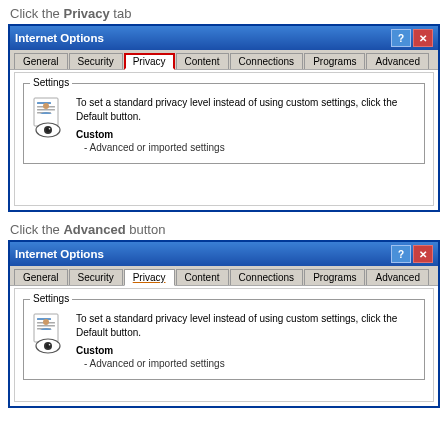Click the Privacy tab
[Figure (screenshot): Internet Options dialog box showing the Privacy tab selected with a red border highlight. Settings section shows privacy icon, text about setting standard privacy level, and 'Custom - Advanced or imported settings' option.]
Click the Advanced button
[Figure (screenshot): Internet Options dialog box showing the Privacy tab selected with orange underline. Settings section shows privacy icon, text about setting standard privacy level, and 'Custom - Advanced or imported settings' option.]